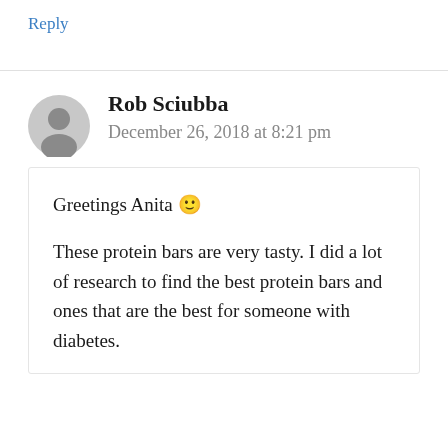Reply
Rob Sciubba
December 26, 2018 at 8:21 pm
Greetings Anita 🙂
These protein bars are very tasty. I did a lot of research to find the best protein bars and ones that are the best for someone with diabetes.